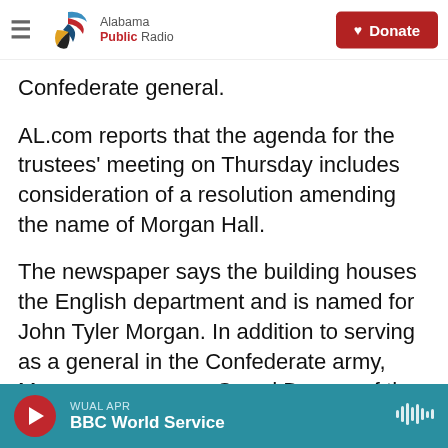Alabama Public Radio — Donate
Confederate general.
AL.com reports that the agenda for the trustees' meeting on Thursday includes consideration of a resolution amending the name of Morgan Hall.
The newspaper says the building houses the English department and is named for John Tyler Morgan. In addition to serving as a general in the Confederate army, Morgan was once a Grand Dragon of the Ku Klux Klan.
WUAL APR — BBC World Service